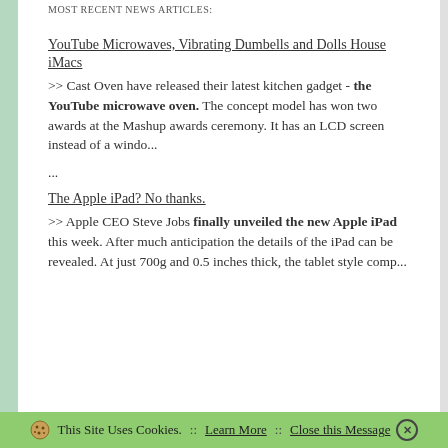MOST RECENT NEWS ARTICLES:
YouTube Microwaves, Vibrating Dumbells and Dolls House iMacs
>> Cast Oven have released their latest kitchen gadget - the YouTube microwave oven. The concept model has won two awards at the Mashup awards ceremony. It has an LCD screen instead of a windo...
...
The Apple iPad? No thanks.
>> Apple CEO Steve Jobs finally unveiled the new Apple iPad this week. After much anticipation the details of the iPad can be revealed. At just 700g and 0.5 inches thick, the tablet style comp...
This Site Uses Cookies. :: Learn More :: Close this Message